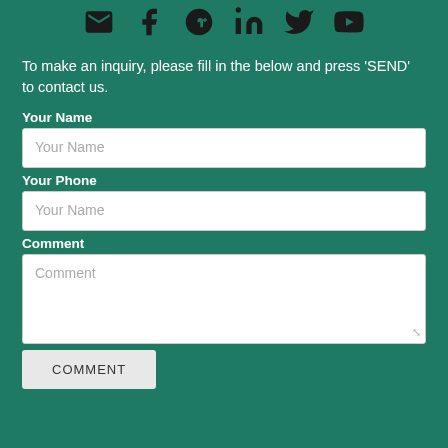[Figure (other): Row of social media icons: email/envelope, Facebook, Google+, LinkedIn, Twitter, YouTube]
To make an inquiry, please fill in the below and press 'SEND' to contact us.
Your Name
Your Name (placeholder in input field)
Your Phone
Your Name (placeholder in phone field)
Comment
Comment (placeholder in textarea)
COMMENT (button)